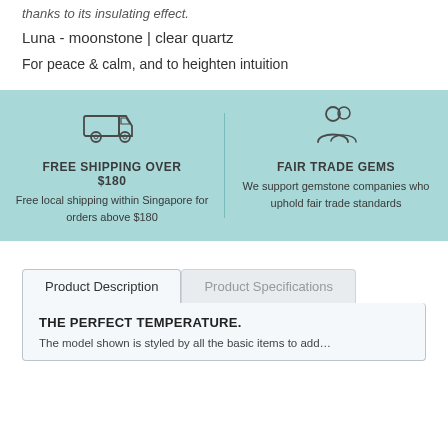thanks to its insulating effect.
Luna - moonstone | clear quartz
For peace & calm, and to heighten intuition
[Figure (infographic): Teal banner with two sections: left shows a delivery truck icon with text 'FREE SHIPPING OVER $180 / Free local shipping within Singapore for orders above $180'; right shows a people/community icon with text 'FAIR TRADE GEMS / We support gemstone companies who uphold fair trade standards']
Product Description
Product Specifications
THE PERFECT TEMPERATURE.
The model shown is styled by all the basic items to add...